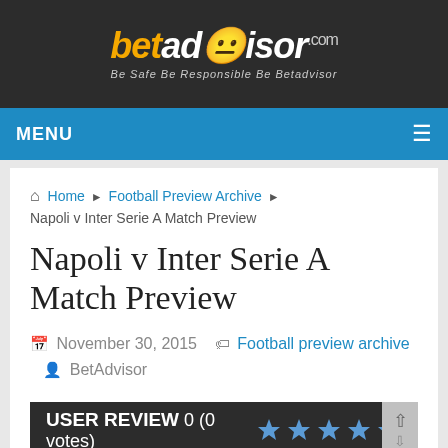[Figure (logo): BetAdvisor.com logo with tagline 'Be Safe Be Responsible Be Betadvisor' on dark background]
MENU
Home > Football Preview Archive > Napoli v Inter Serie A Match Preview
Napoli v Inter Serie A Match Preview
November 30, 2015  Football preview archive  BetAdvisor
USER REVIEW 0 (0 votes) ★★★★★